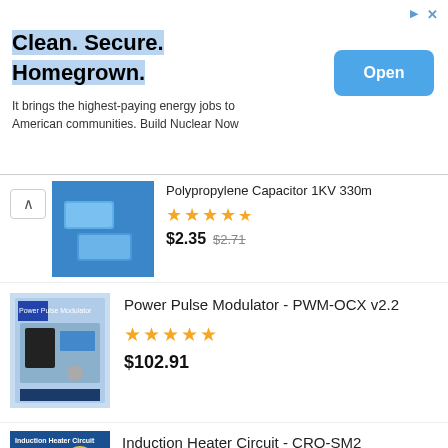[Figure (screenshot): Advertisement banner: Clean. Secure. Homegrown. with Open button]
Clean. Secure. Homegrown.
It brings the highest-paying energy jobs to American communities. Build Nuclear Now
[Figure (screenshot): Polypropylene Capacitor 1KV 330m - product listing with blue capacitor image, 4.5 stars, price $2.35 (was $2.71)]
Polypropylene Capacitor 1KV 330m
$2.35 $2.71
[Figure (screenshot): Power Pulse Modulator - PWM-OCX v2.2 product listing with circuit board image, 5 stars, price $102.91]
Power Pulse Modulator - PWM-OCX v2.2
$102.91
[Figure (screenshot): Induction Heater Circuit - CRO-SM2 product listing, partially visible]
Induction Heater Circuit - CRO-SM2
Worldwide Shipping - Buy any 10 items for 10% off
Dismiss
[Figure (screenshot): Power Pulse Modulator - PWM-OCmI (HV) product listing with circuit board image, 4.5 stars, price $44.94]
Power Pulse Modulator - PWM-OCmI (HV)
$44.94